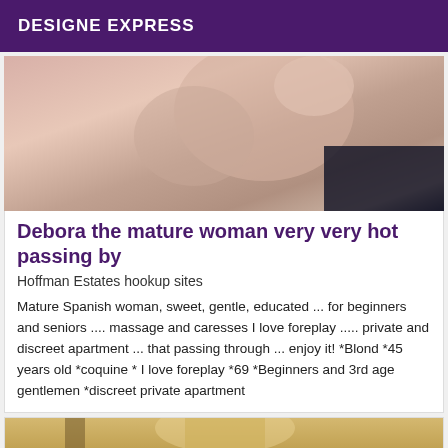DESIGNE EXPRESS
[Figure (photo): Close-up photo of a person's torso/midsection lying on a pink floral bed]
Debora the mature woman very very hot passing by
Hoffman Estates hookup sites
Mature Spanish woman, sweet, gentle, educated ... for beginners and seniors .... massage and caresses I love foreplay ..... private and discreet apartment ... that passing through ... enjoy it! *Blond *45 years old *coquine * I love foreplay *69 *Beginners and 3rd age gentlemen *discreet private apartment
[Figure (photo): Partial photo of a blonde person, cropped at bottom of page]